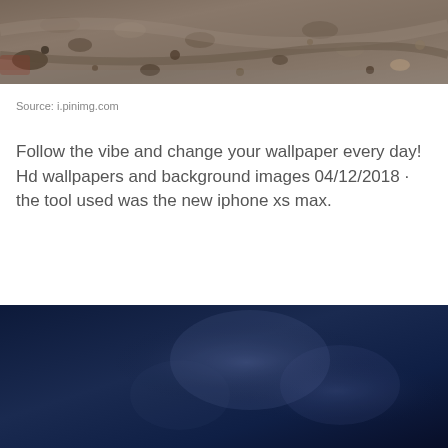[Figure (photo): Top portion of a photo showing gravel/rocky ground surface with brown and gray stones]
Source: i.pinimg.com
Follow the vibe and change your wallpaper every day! Hd wallpapers and background images 04/12/2018 · the tool used was the new iphone xs max.
[Figure (photo): Dark navy blue blurred background image, bottom portion of a photo]